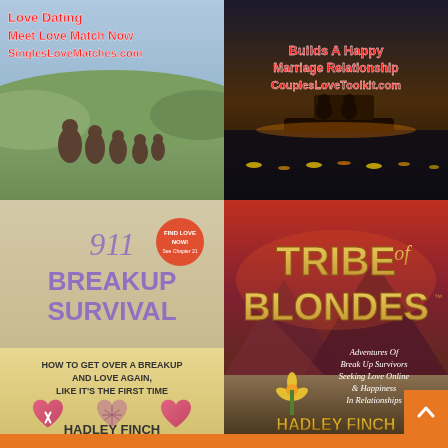[Figure (photo): Top-left advertisement: group of people outdoors on a hillside with red text overlay 'Love Dating / Meet Love Match Now / SinglesLoveMatches.com']
[Figure (photo): Top-right advertisement: couple on a boat at sunset with red text overlay 'Builds A Happy Marriage Relationship / CouplesLoveToolkit.com']
[Figure (photo): Bottom-left book cover: '911 Breakup Survival - How To Get Over A Breakup And Love Again, Like It's The First Time' by Hadley Finch, with purple/beige design and broken heart imagery]
[Figure (photo): Bottom-right book cover: 'Tribe of Blondes - Adventures Of Break Up Survivors Seeking Love Online & Happiness In Relationships' by Hadley Finch, with desert sunset background]